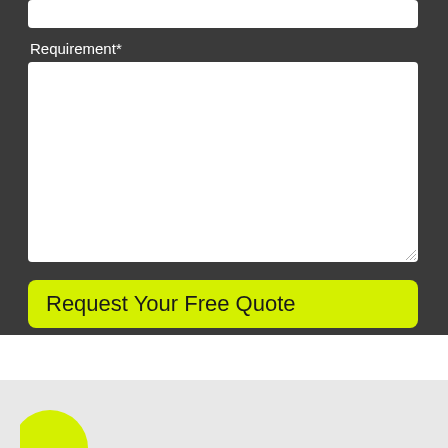Requirement*
[Figure (screenshot): A white empty textarea input field for entering requirement text]
Request Your Free Quote
[Figure (illustration): Light gray footer section with partial yellow/green circle logo at bottom left]